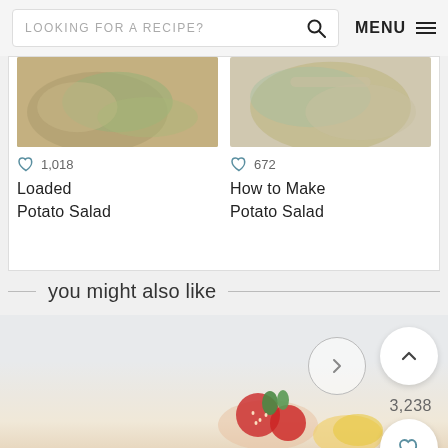LOOKING FOR A RECIPE? [search] MENU
1,018
Loaded Potato Salad
672
How to Make Potato Salad
you might also like
3,238
[Figure (photo): Food photography showing recipe thumbnails and a recommendation section with strawberries at bottom]